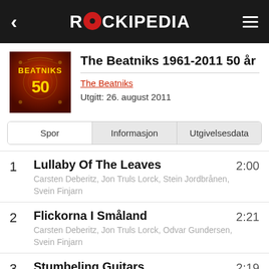ROCKIPEDIA
The Beatniks 1961-2011 50 år
The Beatniks
Utgitt: 26. august 2011
| Spor | Informasjon | Utgivelsesdata |
| --- | --- | --- |
1  Lullaby Of The Leaves  2:00
Carsten Deberitz, Jon Truls Lorck, Stein Jordbrånen, Svein Finjarn
2  Flickorna I Småland  2:21
Carsten Deberitz, Jon Truls Lorck, Odvar Gundersen, Svein Finjarn
3  Stumbeling Guitars  2:19
Carsten Deberitz, Jon Truls Lorck, Odvar